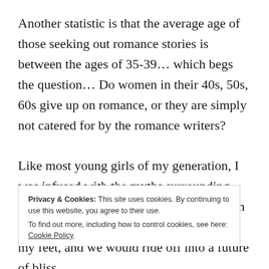Another statistic is that the average age of those seeking out romance stories is between the ages of 35-39… which begs the question… Do women in their 40s, 50s, 60s give up on romance, or they are simply not catered for by the romance writers?
Like most young girls of my generation, I was infused with the myths surrounding love and romance at an early age. Between fairy tales and my mother's desire
Privacy & Cookies: This site uses cookies. By continuing to use this website, you agree to their use.
To find out more, including how to control cookies, see here: Cookie Policy
my feet, and we would ride off into a future of bliss,